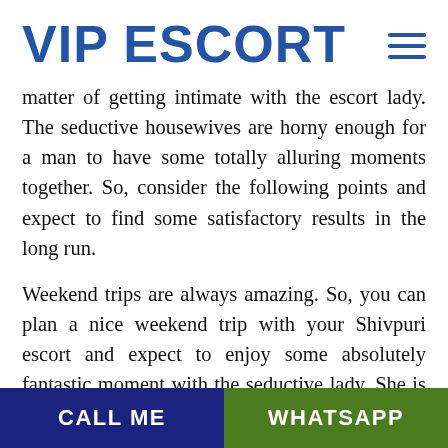VIP ESCORT
matter of getting intimate with the escort lady. The seductive housewives are horny enough for a man to have some totally alluring moments together. So, consider the following points and expect to find some satisfactory results in the long run.
Weekend trips are always amazing. So, you can plan a nice weekend trip with your Shivpuri escort and expect to enjoy some absolutely fantastic moment with the seductive lady. She is going to enjoy the company and added to that, the escort lady will be really happy to enjoy her moments at
CALL ME   WHATSAPP